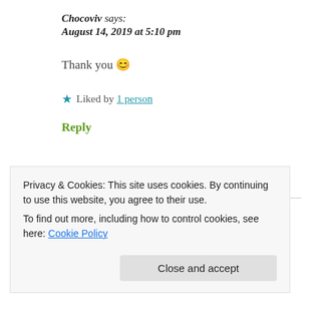Chocoviv says:
August 14, 2019 at 5:10 pm
Thank you 😊
★ Liked by 1 person
Reply
popsiclesociety says:
Privacy & Cookies: This site uses cookies. By continuing to use this website, you agree to their use.
To find out more, including how to control cookies, see here: Cookie Policy
Close and accept